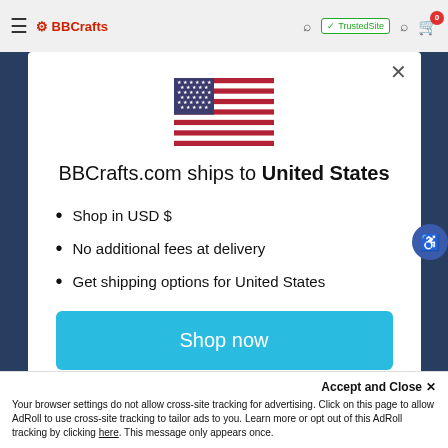BBCrafts.com navigation bar with logo, TrustedSite badge, search, account, and cart icons
[Figure (screenshot): US flag SVG illustration centered in modal]
BBCrafts.com ships to United States
Shop in USD $
No additional fees at delivery
Get shipping options for United States
Shop now
Change shipping country
Accept and Close ✕
Your browser settings do not allow cross-site tracking for advertising. Click on this page to allow AdRoll to use cross-site tracking to tailor ads to you. Learn more or opt out of this AdRoll tracking by clicking here. This message only appears once.